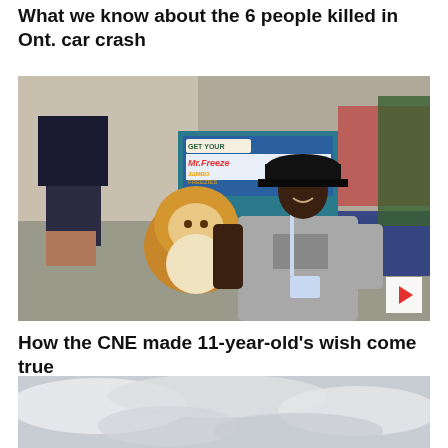What we know about the 6 people killed in Ont. car crash
[Figure (photo): A young Black boy smiling, wearing a grey Nike t-shirt, a lanyard, and a black flat-brim cap, holding a stuffed lion toy. Background shows a fair/carnival setting with a Mr. Freeze Jumbo Freezies booth and other stalls. Play button overlay in bottom-right corner.]
How the CNE made 11-year-old's wish come true
[Figure (photo): Aerial or sky photo showing clouds and grey sky.]